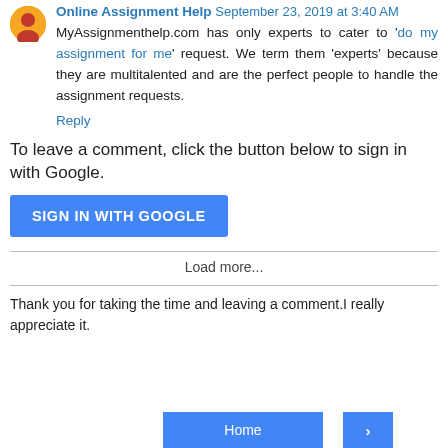Online Assignment Help  September 23, 2019 at 3:40 AM
MyAssignmenthelp.com has only experts to cater to 'do my assignment for me' request. We term them 'experts' because they are multitalented and are the perfect people to handle the assignment requests.
Reply
To leave a comment, click the button below to sign in with Google.
SIGN IN WITH GOOGLE
Load more...
Thank you for taking the time and leaving a comment.I really appreciate it.
Home